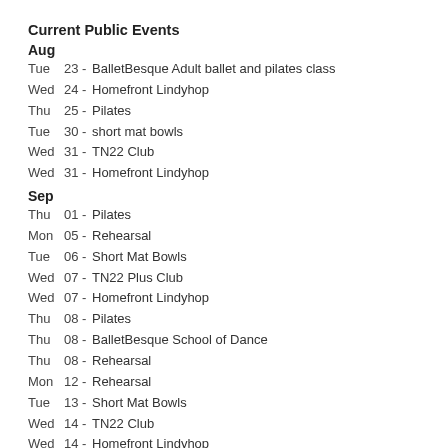Current Public Events
Aug
Tue   23 - BalletBesque Adult ballet and pilates class
Wed  24 - Homefront Lindyhop
Thu   25 - Pilates
Tue   30 - short mat bowls
Wed  31 - TN22 Club
Wed  31 - Homefront Lindyhop
Sep
Thu   01 - Pilates
Mon  05 - Rehearsal
Tue   06 - Short Mat Bowls
Wed  07 - TN22 Plus Club
Wed  07 - Homefront Lindyhop
Thu   08 - Pilates
Thu   08 - BalletBesque School of Dance
Thu   08 - Rehearsal
Mon  12 - Rehearsal
Tue   13 - Short Mat Bowls
Wed  14 - TN22 Club
Wed  14 - Homefront Lindyhop
Thu   15 - Pilates
Thu   15 - BalletBesque School of Dance